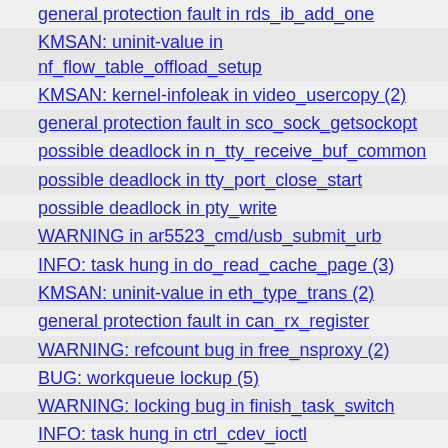general protection fault in rds_ib_add_one
KMSAN: uninit-value in nf_flow_table_offload_setup
KMSAN: kernel-infoleak in video_usercopy (2)
general protection fault in sco_sock_getsockopt
possible deadlock in n_tty_receive_buf_common
possible deadlock in tty_port_close_start
possible deadlock in pty_write
WARNING in ar5523_cmd/usb_submit_urb
INFO: task hung in do_read_cache_page (3)
KMSAN: uninit-value in eth_type_trans (2)
general protection fault in can_rx_register
WARNING: refcount bug in free_nsproxy (2)
BUG: workqueue lockup (5)
WARNING: locking bug in finish_task_switch
INFO: task hung in ctrl_cdev_ioctl
KASAN: use-after-free Read in v4l2_release (3)
KASAN: null-ptr-deref Write in video_usercopy
WARNING in port100_send_cmd_async/usb_submit_urb (2)
WARNING: locking bug in __inet6_bind
possible deadlock in uart_write
KASAN: vmalloc out of bounds Read in srcu_invoke_callbacks